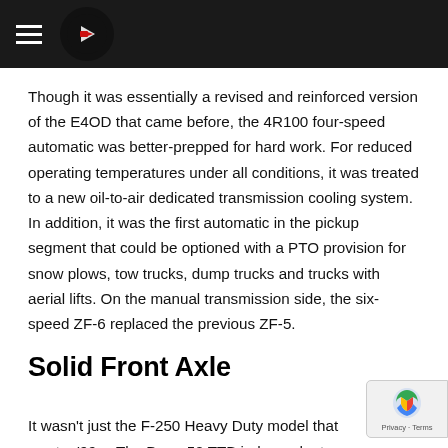[Navigation header with hamburger menu and logo]
Though it was essentially a revised and reinforced version of the E4OD that came before, the 4R100 four-speed automatic was better-prepped for hard work. For reduced operating temperatures under all conditions, it was treated to a new oil-to-air dedicated transmission cooling system. In addition, it was the first automatic in the pickup segment that could be optioned with a PTO provision for snow plows, tow trucks, dump trucks and trucks with aerial lifts. On the manual transmission side, the six-speed ZF-6 replaced the previous ZF-5.
Solid Front Axle
It wasn't just the F-250 Heavy Duty model that went a... '99… The Dana 50 TTB independent front suspension models was also scrapped, in favor of a Dana 50 solid axle in